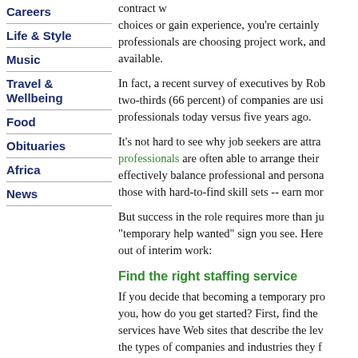Careers
Life & Style
Music
Travel & Wellbeing
Food
Obituaries
Africa
News
contract w... choices or gain experience, you're certainly professionals are choosing project work, and available.
In fact, a recent survey of executives by Rob two-thirds (66 percent) of companies are usi professionals today versus five years ago.
It's not hard to see why job seekers are attra professionals are often able to arrange their effectively balance professional and persona those with hard-to-find skill sets -- earn mor
But success in the role requires more than ju "temporary help wanted" sign you see. Here out of interim work:
Find the right staffing service
If you decide that becoming a temporary pro you, how do you get started? First, find the services have Web sites that describe the lev the types of companies and industries they f
advertisement
[Figure (other): Hatched/striped bar at the bottom of the page]